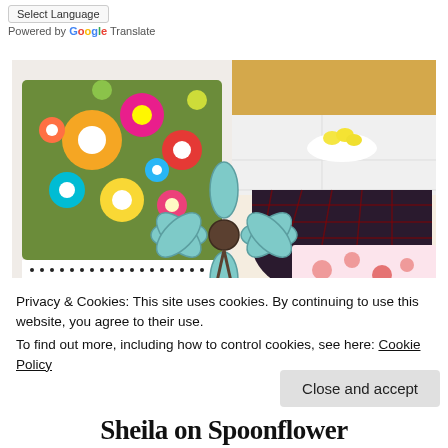Select Language
Powered by Google Translate
[Figure (photo): Collage of fabric/textile products: a colorful floral pillow, dark plaid tablecloth on a table, a blue daisy illustration overlay, black-and-white dotted fabric, and a pink floral pillow.]
Privacy & Cookies: This site uses cookies. By continuing to use this website, you agree to their use.
To find out more, including how to control cookies, see here: Cookie Policy
Close and accept
Sheila on Spoonflower